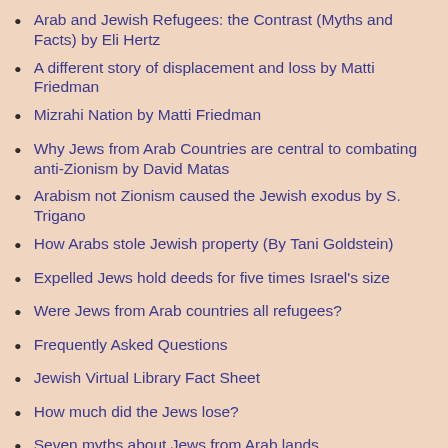Arab and Jewish Refugees: the Contrast (Myths and Facts) by Eli Hertz
A different story of displacement and loss by Matti Friedman
Mizrahi Nation by Matti Friedman
Why Jews from Arab Countries are central to combating anti-Zionism by David Matas
Arabism not Zionism caused the Jewish exodus by S. Trigano
How Arabs stole Jewish property (By Tani Goldstein)
Expelled Jews hold deeds for five times Israel's size
Were Jews from Arab countries all refugees?
Frequently Asked Questions
Jewish Virtual Library Fact Sheet
How much did the Jews lose?
Seven myths about Jews from Arab lands
Arab League Draft Law regarding Jews
Congress adopts first ever Jewish refugees bill
Jewish refugee bill introduced in Knesset